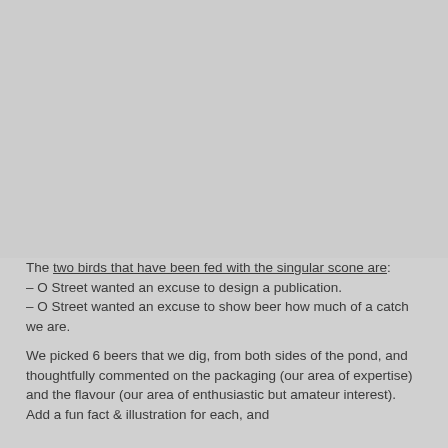[Figure (illustration): Large grey/light grey blank area occupying the upper portion of the page — appears to be a placeholder for an image or illustration.]
The two birds that have been fed with the singular scone are:
– O Street wanted an excuse to design a publication.
– O Street wanted an excuse to show beer how much of a catch we are.

We picked 6 beers that we dig, from both sides of the pond, and thoughtfully commented on the packaging (our area of expertise) and the flavour (our area of enthusiastic but amateur interest). Add a fun fact & illustration for each, and